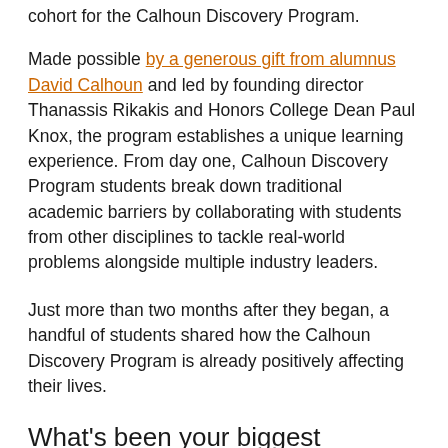cohort for the Calhoun Discovery Program.
Made possible by a generous gift from alumnus David Calhoun and led by founding director Thanassis Rikakis and Honors College Dean Paul Knox, the program establishes a unique learning experience. From day one, Calhoun Discovery Program students break down traditional academic barriers by collaborating with students from other disciplines to tackle real-world problems alongside multiple industry leaders.
Just more than two months after they began, a handful of students shared how the Calhoun Discovery Program is already positively affecting their lives.
What's been your biggest takeaway from collaborating with students from other